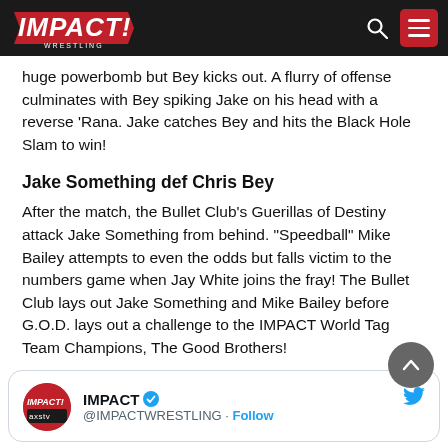IMPACT! Wrestling
huge powerbomb but Bey kicks out. A flurry of offense culminates with Bey spiking Jake on his head with a reverse 'Rana. Jake catches Bey and hits the Black Hole Slam to win!
Jake Something def Chris Bey
After the match, the Bullet Club's Guerillas of Destiny attack Jake Something from behind. "Speedball" Mike Bailey attempts to even the odds but falls victim to the numbers game when Jay White joins the fray! The Bullet Club lays out Jake Something and Mike Bailey before G.O.D. lays out a challenge to the IMPACT World Tag Team Champions, The Good Brothers!
[Figure (screenshot): Embedded tweet from IMPACT (@IMPACTWRESTLING) with verified badge and Follow link]